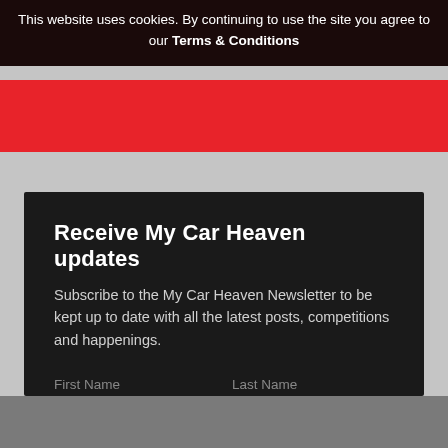This website uses cookies. By continuing to use the site you agree to our Terms & Conditions
Receive My Car Heaven updates
Subscribe to the My Car Heaven Newsletter to be kept up to date with all the latest posts, competitions and happenings.
First Name
Last Name
Email Address
SUBMIT
Terms & Conditions